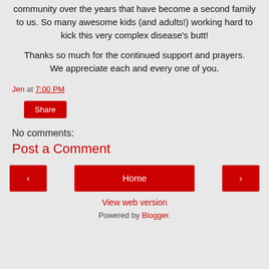community over the years that have become a second family to us. So many awesome kids (and adults!) working hard to kick this very complex disease's butt!
Thanks so much for the continued support and prayers. We appreciate each and every one of you.
Jen at 7:00 PM
Share
No comments:
Post a Comment
‹ Home ›
View web version
Powered by Blogger.